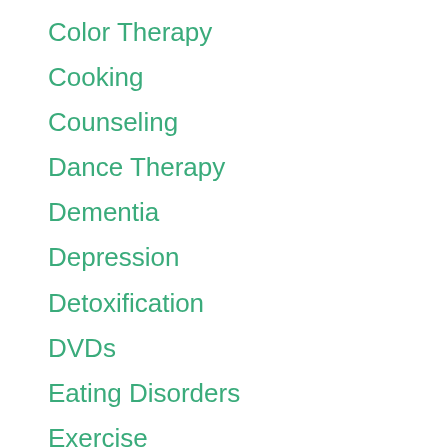Color Therapy
Cooking
Counseling
Dance Therapy
Dementia
Depression
Detoxification
DVDs
Eating Disorders
Exercise
Fasting
Fatigue
Grief
Guided Imagery
Healing
Herbal Medicine